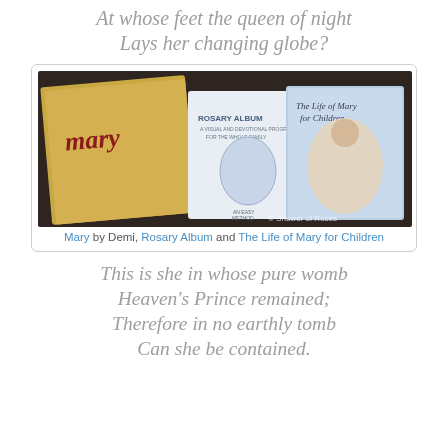At whose feet the queen of night Lays her changing globe?
[Figure (photo): Three religious books fanned out on a dark surface: 'Mary' by Demi (gold illustrated cover), 'Rosary Album' (white cover with blue illustration), and 'The Life of Mary for Children' (illustrated pastel cover). Watermark: © Shower of Roses]
Mary by Demi, Rosary Album and The Life of Mary for Children
This is she in whose pure womb Heaven's Prince remained; Therefore in no earthly tomb Can she be contained.